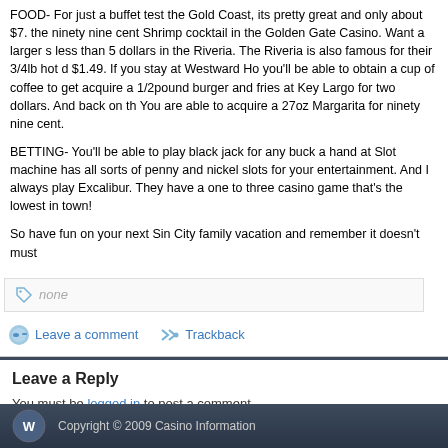FOOD- For just a buffet test the Gold Coast, its pretty great and only about $7. the ninety nine cent Shrimp cocktail in the Golden Gate Casino. Want a larger s less than 5 dollars in the Riveria. The Riveria is also famous for their 3/4lb hot d $1.49. If you stay at Westward Ho you'll be able to obtain a cup of coffee to get acquire a 1/2pound burger and fries at Key Largo for two dollars. And back on th You are able to acquire a 27oz Margarita for ninety nine cent.
BETTING- You'll be able to play black jack for any buck a hand at Slot machine has all sorts of penny and nickel slots for your entertainment. And I always play Excalibur. They have a one to three casino game that's the lowest in town!
So have fun on your next Sin City family vacation and remember it doesn't must
none
Leave a comment   Trackback
Leave a Reply
You must be logged in to post a comment.
RSS feed for this post (comments)
Copyright © 2009 Casino Information